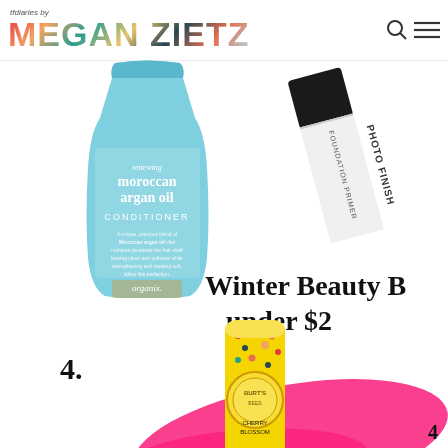tfdiaries by MEGAN ZIETZ
[Figure (photo): OGX Renewing Moroccan Argan Oil Conditioner bottle in light blue color]
[Figure (photo): Photo Finish Foundation Primer in white and black tube]
Winter Beauty B under $2
4.
[Figure (photo): Cherry Blossom lip gloss tube with yellow and pink design and pink glossy streak]